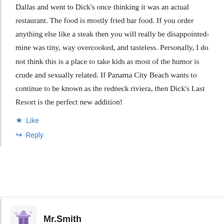Dallas and went to Dick's once thinking it was an actual restaurant. The food is mostly fried bar food. If you order anything else like a steak then you will really be disappointed-mine was tiny, way overcooked, and tasteless. Personally, I do not think this is a place to take kids as most of the humor is crude and sexually related. If Panama City Beach wants to continue to be known as the redneck riviera, then Dick's Last Resort is the perfect new addition!
Like
Reply
Mr.Smith